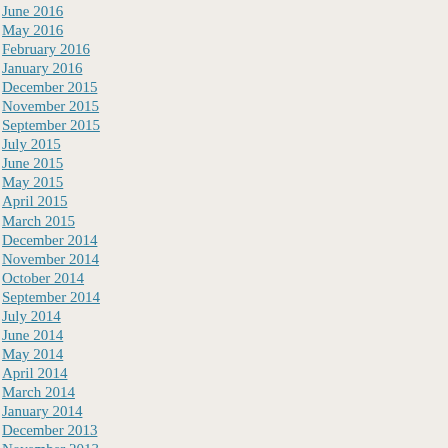June 2016
May 2016
February 2016
January 2016
December 2015
November 2015
September 2015
July 2015
June 2015
May 2015
April 2015
March 2015
December 2014
November 2014
October 2014
September 2014
July 2014
June 2014
May 2014
April 2014
March 2014
January 2014
December 2013
November 2013
October 2013
July 2013
June 2013
May 2013
April 2013